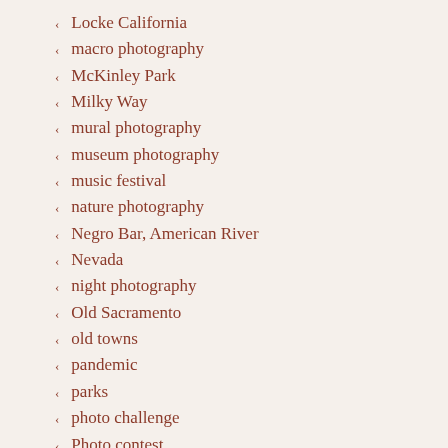Locke California
macro photography
McKinley Park
Milky Way
mural photography
museum photography
music festival
nature photography
Negro Bar, American River
Nevada
night photography
Old Sacramento
old towns
pandemic
parks
photo challenge
Photo contest
Photo enthuasist